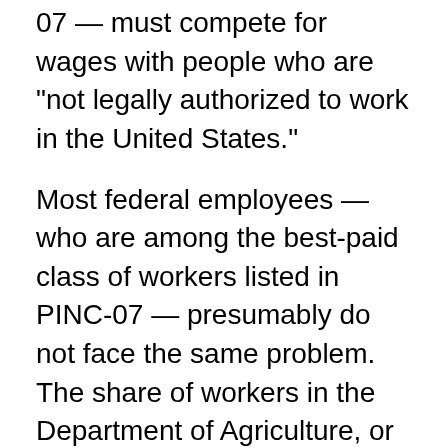07 — must compete for wages with people who are "not legally authorized to work in the United States."
Most federal employees — who are among the best-paid class of workers listed in PINC-07 — presumably do not face the same problem. The share of workers in the Department of Agriculture, or the Department of Homeland Security, who are "not legally authorized to work in the United States" has not "fluctuated around 50 percent" in recent years.
According to the Department of Agriculture, the percentage of hired crop farmworkers